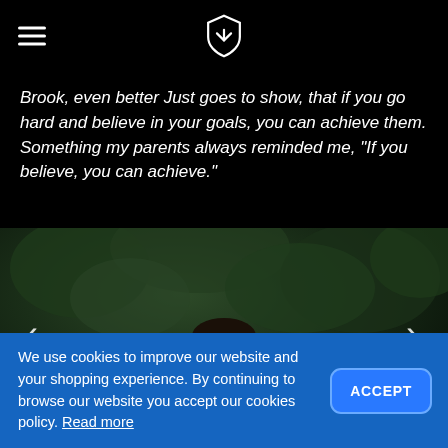[Navigation header with hamburger menu and shield logo]
Brook, even better Just goes to show, that if you go hard and believe in your goals, you can achieve them. Something my parents always reminded me, "If you believe, you can achieve."
[Figure (photo): Young male mountain bike rider wearing a white Mondraker / Troy Lee jersey, standing in front of lush green foliage. Navigation arrows (< and >) on left and right sides of the image.]
We use cookies to improve our website and your shopping experience. By continuing to browse our website you accept our cookies policy. Read more